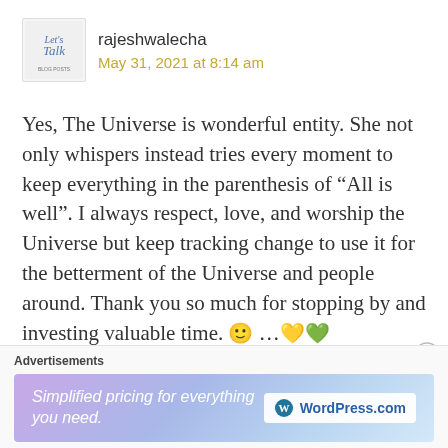[Figure (logo): Let's Talk blog logo — cursive text on light background]
rajeshwalecha
May 31, 2021 at 8:14 am
Yes, The Universe is wonderful entity. She not only whispers instead tries every moment to keep everything in the parenthesis of “All is well”. I always respect, love, and worship the Universe but keep tracking change to use it for the betterment of the Universe and people around. Thank you so much for stopping by and investing valuable time. 🙂 ...💛💚
Advertisements
[Figure (screenshot): WordPress.com advertisement banner — Simplified pricing for everything you need.]